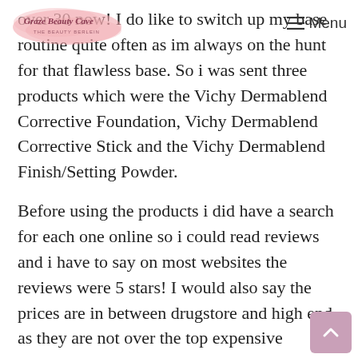Graze Beauty Cave — Menu
over 30 now! I do like to switch up my base routine quite often as im always on the hunt for that flawless base. So i was sent three products which were the Vichy Dermablend Corrective Foundation, Vichy Dermablend Corrective Stick and the Vichy Dermablend Finish/Setting Powder.
Before using the products i did have a search for each one online so i could read reviews and i have to say on most websites the reviews were 5 stars! I would also say the prices are in between drugstore and high end as they are not over the top expensive compared to some brands. I have been using all three of the products for a week now and i am really impressed.